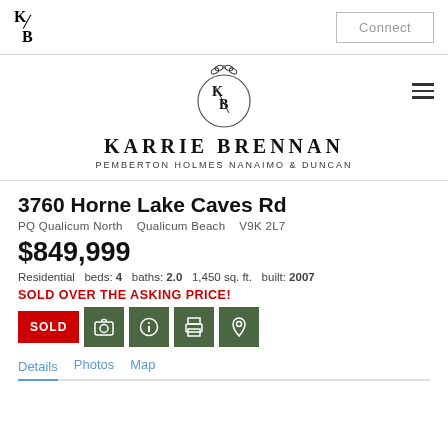KB Connect
[Figure (logo): Karrie Brennan KB monogram logo with olive branch circle and brand name KARRIE BRENNAN, PEMBERTON HOLMES NANAIMO & DUNCAN]
3760 Horne Lake Caves Rd
PQ Qualicum North   Qualicum Beach   V9K 2L7
$849,999
Residential  beds: 4  baths: 2.0  1,450 sq. ft.  built: 2007
SOLD OVER THE ASKING PRICE!
SOLD
Details  Photos  Map